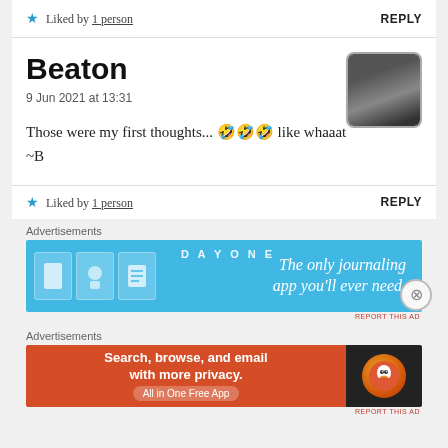★ Liked by 1 person
REPLY
Beaton
9 Jun 2021 at 13:31
Those were my first thoughts... 🤣🤣🤣 like whaaat
~B
★ Liked by 1 person
REPLY
Advertisements
[Figure (other): Day One journaling app advertisement: blue background with app icons and text 'The only journaling app you'll ever need.']
Advertisements
[Figure (other): DuckDuckGo advertisement: orange and black background with text 'Search, browse, and email with more privacy. All in One Free App' and DuckDuckGo logo]